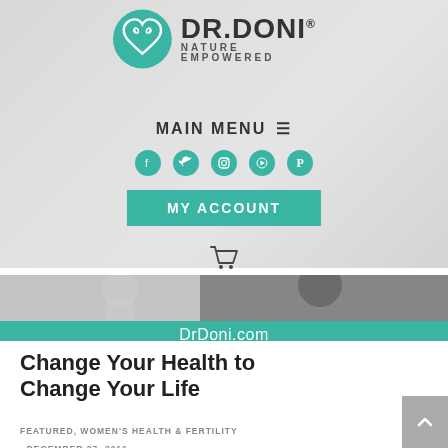[Figure (logo): Dr. Doni Nature Empowered logo with teal circle containing heart/spiral design]
MAIN MENU ≡
[Figure (infographic): Five social media icon circles in teal: Facebook, Twitter, Instagram, YouTube, Pinterest]
MY ACCOUNT
[Figure (other): Shopping cart icon]
[Figure (photo): Black and white photo showing people, with teal banner overlay reading DrDoni.com]
Change Your Health to Change Your Life
FEATURED, WOMEN'S HEALTH & FERTILITY · DECEMBER 27, 2016